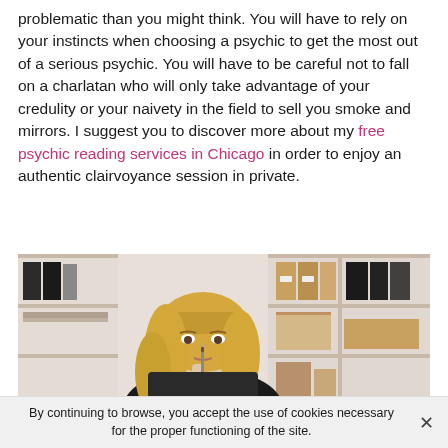problematic than you might think. You will have to rely on your instincts when choosing a psychic to get the most out of a serious psychic. You will have to be careful not to fall on a charlatan who will only take advantage of your credulity or your naivety in the field to sell you smoke and mirrors. I suggest you to discover more about my free psychic reading services in Chicago in order to enjoy an authentic clairvoyance session in private.
[Figure (photo): A blonde woman with curly hair sitting at a desk in a black jacket, holding a pen to her chin in a thoughtful pose, with shelves of binders and boxes in the background.]
By continuing to browse, you accept the use of cookies necessary for the proper functioning of the site.